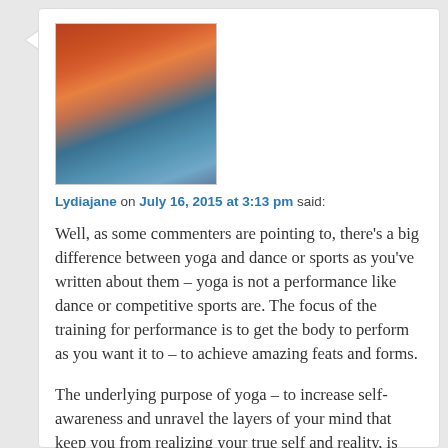[Figure (photo): Avatar thumbnail photo showing a mountain landscape with red rock cliffs and blue water/sky]
Lydiajane on July 16, 2015 at 3:13 pm said:
Well, as some commenters are pointing to, there's a big difference between yoga and dance or sports as you've written about them – yoga is not a performance like dance or competitive sports are. The focus of the training for performance is to get the body to perform as you want it to – to achieve amazing feats and forms.
The underlying purpose of yoga – to increase self-awareness and unravel the layers of your mind that keep you from realizing your true self and reality, is mostly distracted by the egoic persuits of performance and competition, not helped by them. Beyond that, we currently have traditions of both yoga and western medical science that teach us amazing things about how to improve strength and